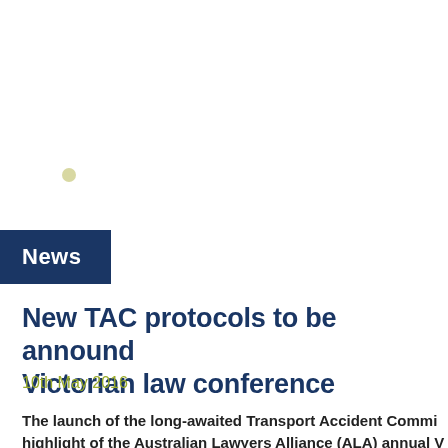News
New TAC protocols to be announced at Victorian law conference
10th May 2016
The launch of the long-awaited Transport Accident Commission highlight of the Australian Lawyers Alliance (ALA) annual V week.